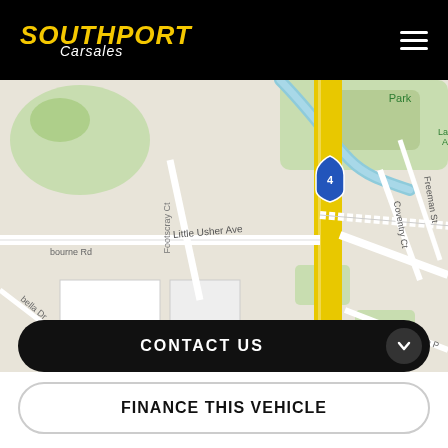SOUTHPORT Carsales
[Figure (map): Street map showing Little Usher Ave, Footscray Ct, Coventry Ct, Freeman St, Melanie P, Gladys St, bourne Rd, bella Dr, Park label, route 4 marker on a yellow road running vertically]
CONTACT US
FINANCE THIS VEHICLE